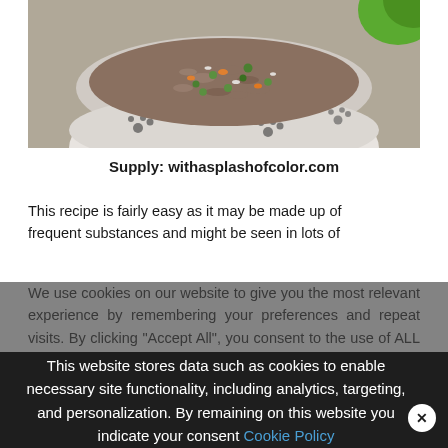[Figure (photo): A white ceramic dog bowl with paw print decorations filled with a ground meat and vegetable mixture (homemade dog food), viewed from above at an angle. A green vegetable is partially visible in the upper right corner.]
Supply: withasplashofcolor.com
This recipe is fairly easy as it may be made up of frequent substances and might be seen in lots of
We use cookies on our website to give you the most relevant experience by remembering your preferences and repeat visits. By clicking “Accept All”, you consent to the use of ALL the cookies. However, you may visit “Cookie Settings” to provide a controlled consent
This website stores data such as cookies to enable necessary site functionality, including analytics, targeting, and personalization. By remaining on this website you indicate your consent Cookie Policy